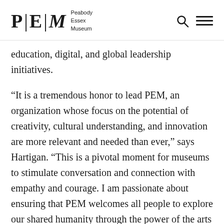PEM Peabody Essex Museum
education, digital, and global leadership initiatives.
“It is a tremendous honor to lead PEM, an organization whose focus on the potential of creativity, cultural understanding, and innovation are more relevant and needed than ever,” says Hartigan. “This is a pivotal moment for museums to stimulate conversation and connection with empathy and courage. I am passionate about ensuring that PEM welcomes all people to explore our shared humanity through the power of the arts and culture we experience.”